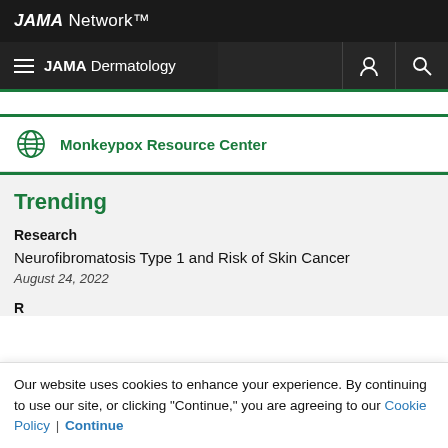JAMA Network™
JAMA Dermatology
Monkeypox Resource Center
Trending
Research
Neurofibromatosis Type 1 and Risk of Skin Cancer
August 24, 2022
Our website uses cookies to enhance your experience. By continuing to use our site, or clicking "Continue," you are agreeing to our Cookie Policy | Continue